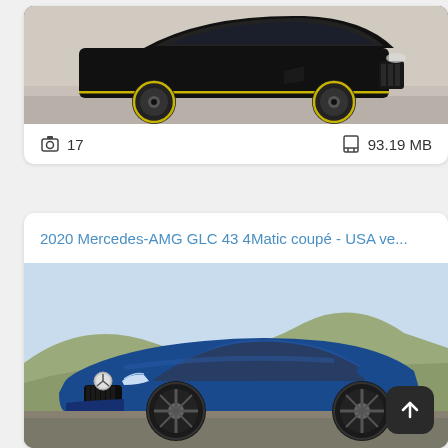[Figure (photo): Black Mercedes-AMG GLC coupe with yellow accents, side profile view]
17  93.19 MB
2020 Mercedes-AMG GLC 43 4Matic coupé - USA ve...
[Figure (photo): Blue 2020 Mercedes-AMG GLC 43 4Matic coupe, three-quarter front view on a hillside road]